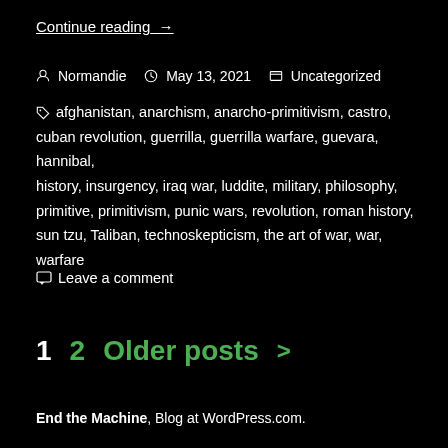Continue reading →
Normandie   May 13, 2021   Uncategorized
afghanistan, anarchism, anarcho-primitivism, castro, cuban revolution, guerrilla, guerrilla warfare, guevara, hannibal, history, insurgency, iraq war, luddite, military, philosophy, primitive, primitivism, punic wars, revolution, roman history, sun tzu, Taliban, technoskepticism, the art of war, war, warfare
Leave a comment
1  2  Older posts >
End the Machine, Blog at WordPress.com.